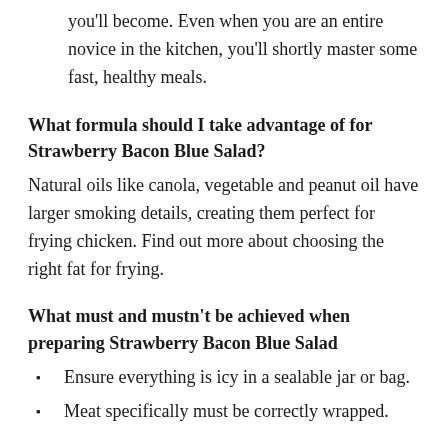you'll become. Even when you are an entire novice in the kitchen, you'll shortly master some fast, healthy meals.
What formula should I take advantage of for Strawberry Bacon Blue Salad?
Natural oils like canola, vegetable and peanut oil have larger smoking details, creating them perfect for frying chicken. Find out more about choosing the right fat for frying.
What must and mustn't be achieved when preparing Strawberry Bacon Blue Salad
Ensure everything is icy in a sealable jar or bag.
Meat specifically must be correctly wrapped.